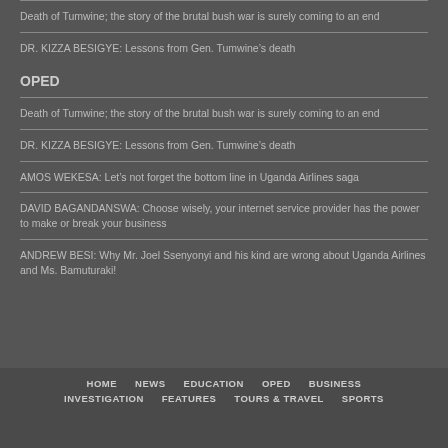Death of Tumwine; the story of the brutal bush war is surely coming to an end
DR. KIZZA BESIGYE: Lessons from Gen. Tumwine’s death
OPED
Death of Tumwine; the story of the brutal bush war is surely coming to an end
DR. KIZZA BESIGYE: Lessons from Gen. Tumwine’s death
AMOS WEKESA: Let’s not forget the bottom line in Uganda Airlines saga
DAVID BAGANDANSWA: Choose wisely, your internet service provider has the power to make or break your business
ANDREW BESI: Why Mr. Joel Ssenyonyi and his kind are wrong about Uganda Airlines and Ms. Bamuturaki!
HOME   NEWS   EDUCATION   OPED   BUSINESS   INVESTIGATION   FEATURES   TOURS & TRAVEL   SPORTS